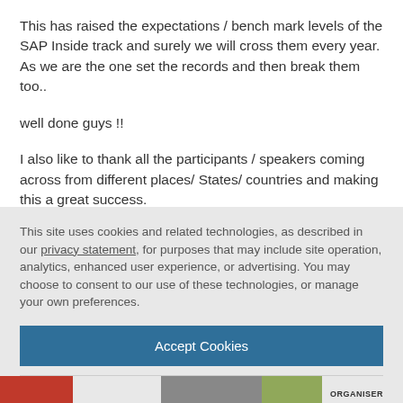This has raised the expectations / bench mark levels of the SAP Inside track and surely we will cross them every year. As we are the one set the records and then break them too..
well done guys !!
I also like to thank all the participants / speakers coming across from different places/ States/ countries and making this a great success.
This site uses cookies and related technologies, as described in our privacy statement, for purposes that may include site operation, analytics, enhanced user experience, or advertising. You may choose to consent to our use of these technologies, or manage your own preferences.
Accept Cookies
More Information
Privacy Policy | Powered by: TrustArc
[Figure (photo): Bottom strip showing a partial photo of an event or gathering with an ORGANISER tag visible]